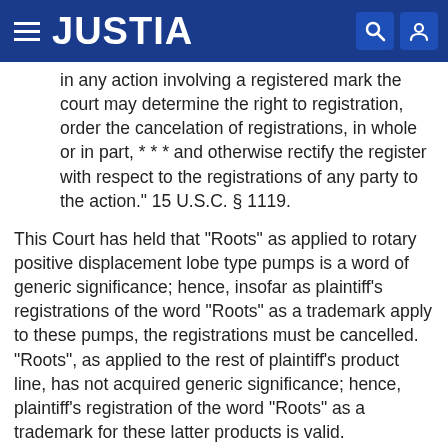JUSTIA
in any action involving a registered mark the court may determine the right to registration, order the cancelation of registrations, in whole or in part, * * * and otherwise rectify the register with respect to the registrations of any party to the action." 15 U.S.C. § 1119.
This Court has held that "Roots" as applied to rotary positive displacement lobe type pumps is a word of generic significance; hence, insofar as plaintiff's registrations of the word "Roots" as a trademark apply to these pumps, the registrations must be cancelled. "Roots", as applied to the rest of plaintiff's product line, has not acquired generic significance; hence, plaintiff's registration of the word "Roots" as a trademark for these latter products is valid. Specifically, trademark registration 153,840 [Appendix "B", No. 1], which relates to "rotary blowers, gas pumps, water pumps and